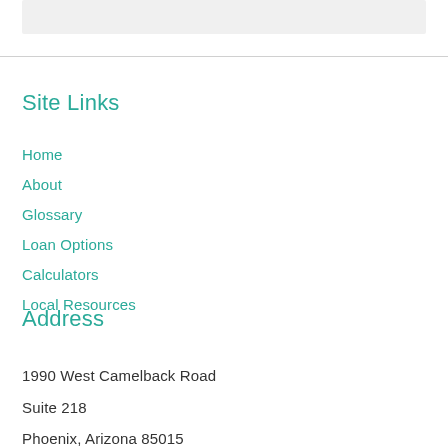[Figure (other): Gray box at top of page, partial visible area]
Site Links
Home
About
Glossary
Loan Options
Calculators
Local Resources
Address
1990 West Camelback Road
Suite 218
Phoenix, Arizona 85015